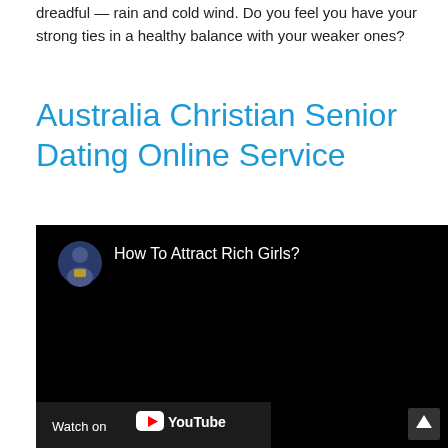dreadful — rain and cold wind. Do you feel you have your strong ties in a healthy balance with your weaker ones?
Australia Christian Senior Dating Online Service
[Figure (screenshot): Embedded YouTube video player showing a dark/black video frame with title 'How To Attract Rich Girls?' and a small circular avatar of a person in the top-left. Bottom bar shows 'Watch on YouTube' logo. A scroll-up arrow button appears bottom-right.]